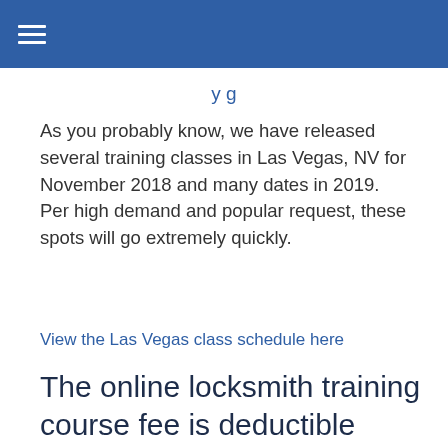≡
As you probably know, we have released several training classes in Las Vegas, NV for November 2018 and many dates in 2019. Per high demand and popular request, these spots will go extremely quickly.
View the Las Vegas class schedule here
The online locksmith training course fee is deductible towards your licensing fee if you wish to become a part of Mr. Locksmith or Mr. ProLock.